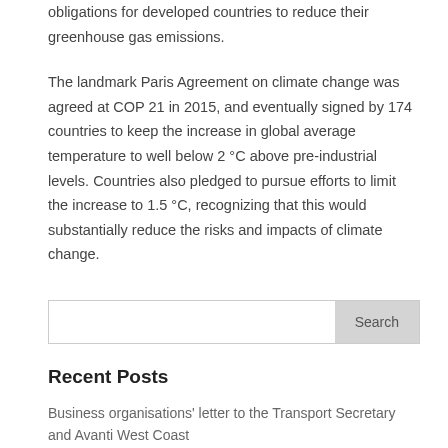obligations for developed countries to reduce their greenhouse gas emissions.
The landmark Paris Agreement on climate change was agreed at COP 21 in 2015, and eventually signed by 174 countries to keep the increase in global average temperature to well below 2 °C above pre-industrial levels. Countries also pledged to pursue efforts to limit the increase to 1.5 °C, recognizing that this would substantially reduce the risks and impacts of climate change.
Search
Recent Posts
Business organisations' letter to the Transport Secretary and Avanti West Coast